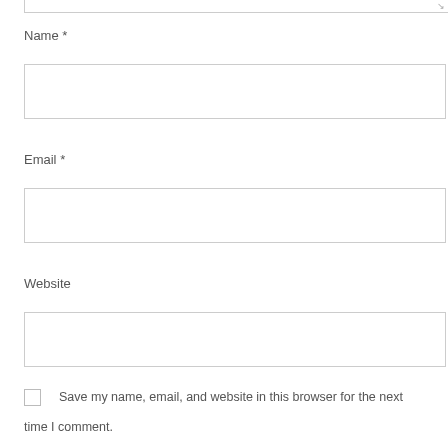Name *
[Figure (screenshot): Text input field for Name]
Email *
[Figure (screenshot): Text input field for Email]
Website
[Figure (screenshot): Text input field for Website]
Save my name, email, and website in this browser for the next time I comment.